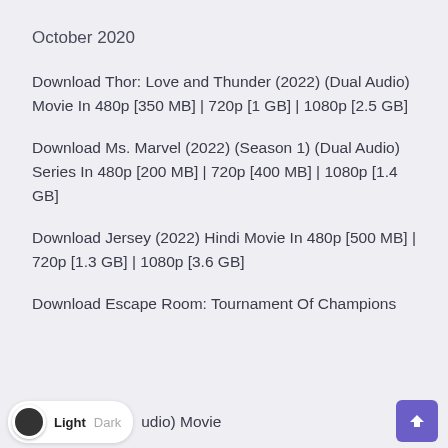October 2020
Download Thor: Love and Thunder (2022) (Dual Audio) Movie In 480p [350 MB] | 720p [1 GB] | 1080p [2.5 GB]
Download Ms. Marvel (2022) (Season 1) (Dual Audio) Series In 480p [200 MB] | 720p [400 MB] | 1080p [1.4 GB]
Download Jersey (2022) Hindi Movie In 480p [500 MB] | 720p [1.3 GB] | 1080p [3.6 GB]
Download Escape Room: Tournament Of Champions (Dual Audio) Movie